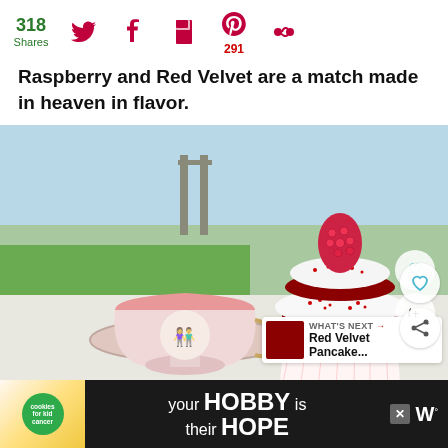318 Shares [social icons: Twitter, Facebook, Flipboard, Pinterest 291, Other]
Raspberry and Red Velvet are a match made in heaven in flavor.
[Figure (photo): A red velvet cupcake topped with a fresh raspberry and white cream frosting with red sprinkles, next to a vintage pink-and-white porcelain teacup on a saucer. Outdoor setting. Side action buttons (heart, share) and a 'What's Next: Red Velvet Pancake...' thumbnail overlay.]
[Figure (infographic): Advertisement bar: cookies for kid cancer logo, 'your HOBBY is their HOPE' text, close button, and W logo]